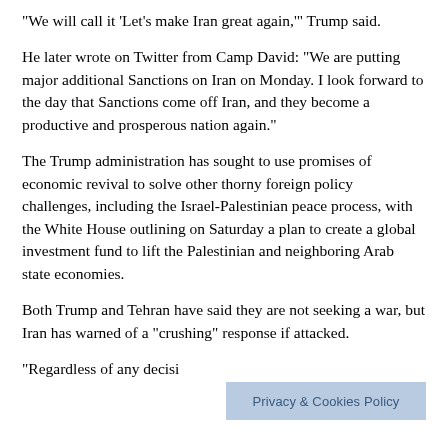“We will call it ‘Let’s make Iran great again,’” Trump said.
He later wrote on Twitter from Camp David: “We are putting major additional Sanctions on Iran on Monday. I look forward to the day that Sanctions come off Iran, and they become a productive and prosperous nation again.”
The Trump administration has sought to use promises of economic revival to solve other thorny foreign policy challenges, including the Israel-Palestinian peace process, with the White House outlining on Saturday a plan to create a global investment fund to lift the Palestinian and neighboring Arab state economies.
Both Trump and Tehran have said they are not seeking a war, but Iran has warned of a “crushing” response if attacked.
“Regardless of any decisi… …we will
Privacy & Cookies Policy